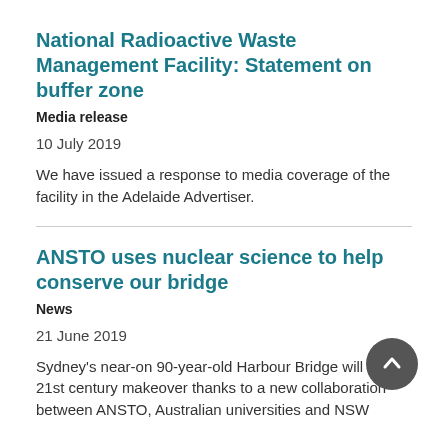National Radioactive Waste Management Facility: Statement on buffer zone
Media release
10 July 2019
We have issued a response to media coverage of the facility in the Adelaide Advertiser.
ANSTO uses nuclear science to help conserve our bridge
News
21 June 2019
Sydney's near-on 90-year-old Harbour Bridge will get a 21st century makeover thanks to a new collaboration between ANSTO, Australian universities and NSW